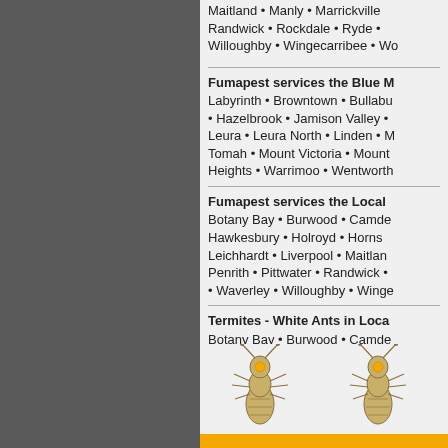Maitland • Manly • Marrickville • Randwick • Rockdale • Ryde • Willoughby • Wingecarribee • Wo…
Fumapest services the Blue M…
Labyrinth • Browntown • Bullabu… • Hazelbrook • Jamison Valley • … Leura • Leura North • Linden • M… Tomah • Mount Victoria • Mount … Heights • Warrimoo • Wentworth…
Fumapest services the Local G…
Botany Bay • Burwood • Camde… Hawkesbury • Holroyd • Horns… Leichhardt • Liverpool • Maitlan… Penrith • Pittwater • Randwick • … • Waverley • Willoughby • Winge…
Termites - White Ants in Loca…
Botany Bay • Burwood • Camde… Hawkesbury • Holroyd • Horns… Leichhardt • Liverpool • Maitlan… Penrith • Pittwater • Randwick • … • Waverley • Willoughby • Winge…
[Figure (illustration): Two illustrated termite/white ant figures side by side on a light background]